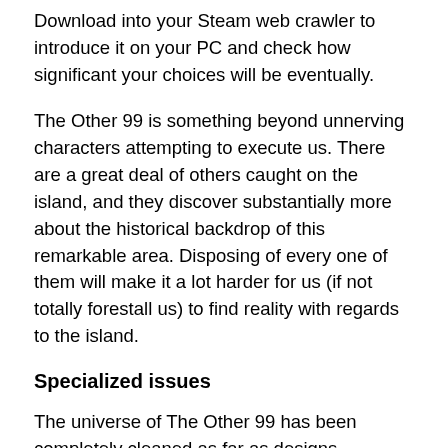Download into your Steam web crawler to introduce it on your PC and check how significant your choices will be eventually.
The Other 99 is something beyond unnerving characters attempting to execute us. There are a great deal of others caught on the island, and they discover substantially more about the historical backdrop of this remarkable area. Disposing of every one of them will make it a lot harder for us (if not totally forestall us) to find reality with regards to the island.
Specialized issues
The universe of The Other 99 has been completely cleaned as far as designs, kindness of the Unreal Engine 4 equivalent to in the Scum game. The motor makes the experienced characters different and surprisingly seriously terrifying. So in the event that you need to see with your